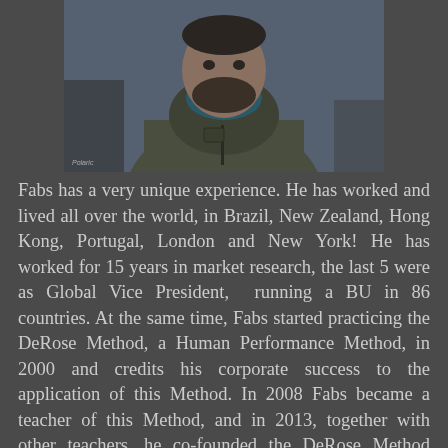[Figure (photo): Portrait photo of a man with a beard wearing an olive/khaki colored jacket with a blue scarf/turtleneck, standing outdoors with a blurred background. Small watermark or logo visible in bottom left corner.]
Fabs has a very unique experience. He has worked and lived all over the world, in Brazil, New Zealand, Hong Kong, Portugal, London and New York! He has worked for 15 years in market research, the last 5 were as Global Vice President,  running a BU in 86 countries. At the same time, Fabs started practicing the DeRose Method, a Human Performance Method, in 2000 and credits his corporate success to the application of this Method. In 2008 Fabs became a teacher of this Method, and in 2013, together with other teachers, he co-founded the DeRose Method TriBeCa.